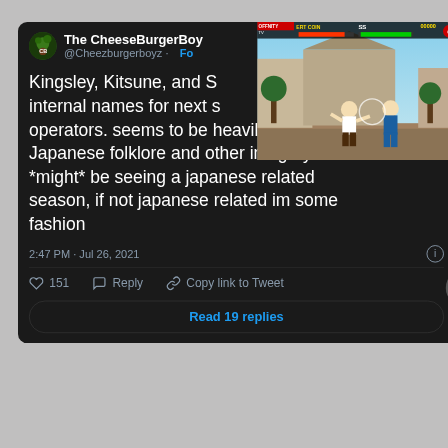[Figure (screenshot): A Twitter/X post by The CheeseBurgerBoy (@Cheezburgerboyz) with a video game screenshot overlay showing a fighting game. Tweet text: 'Kingsley, Kitsune, and S... internal names for next s... operators. seems to be heavily inspired off Japanese folklore and other imagery. we *might* be seeing a japanese related season, if not japanese related im some fashion'. Posted 2:47 PM · Jul 26, 2021. 151 likes.]